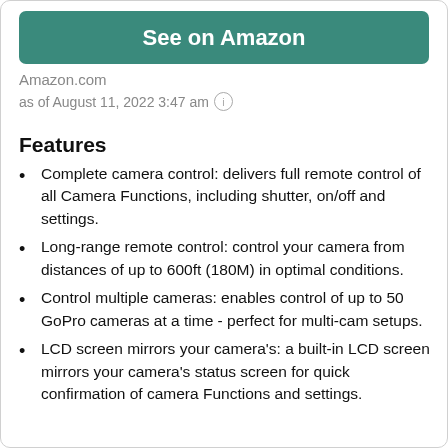[Figure (other): Teal/green 'See on Amazon' button]
Amazon.com
as of August 11, 2022 3:47 am ℹ
Features
Complete camera control: delivers full remote control of all Camera Functions, including shutter, on/off and settings.
Long-range remote control: control your camera from distances of up to 600ft (180M) in optimal conditions.
Control multiple cameras: enables control of up to 50 GoPro cameras at a time - perfect for multi-cam setups.
LCD screen mirrors your camera's: a built-in LCD screen mirrors your camera's status screen for quick confirmation of camera Functions and settings.